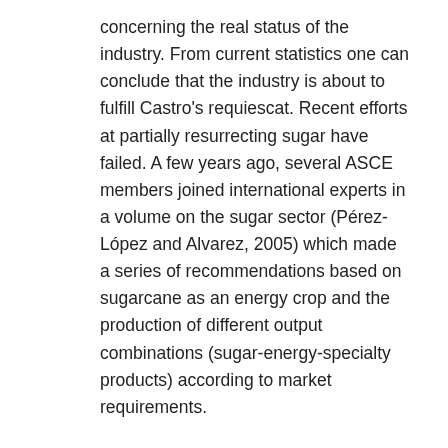concerning the real status of the industry. From current statistics one can conclude that the industry is about to fulfill Castro's requiescat. Recent efforts at partially resurrecting sugar have failed. A few years ago, several ASCE members joined international experts in a volume on the sugar sector (Pérez-López and Alvarez, 2005) which made a series of recommendations based on sugarcane as an energy crop and the production of different output combinations (sugar-energy-specialty products) according to market requirements.
Evidently inspired by Brazil's success and world oil prices, some Cuban exiles who were sugarcane growers or processors before the revolution are promoting the idea of devoting all sugarcane lands to ethanol production in Cuba. Although ethanol could well become an important part of the product mix of the industry, a total shift to